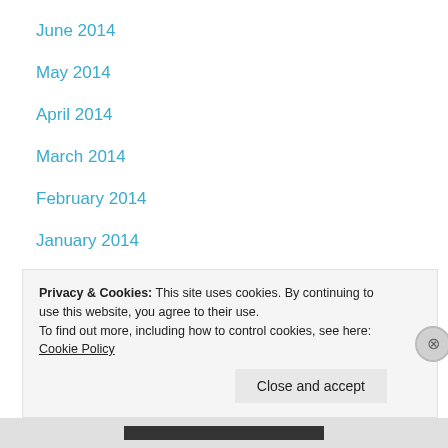June 2014
May 2014
April 2014
March 2014
February 2014
January 2014
December 2013
November 2013
October 2013
Privacy & Cookies: This site uses cookies. By continuing to use this website, you agree to their use.
To find out more, including how to control cookies, see here: Cookie Policy
Close and accept